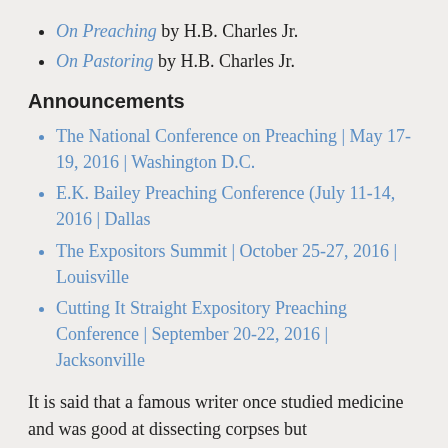On Preaching by H.B. Charles Jr.
On Pastoring by H.B. Charles Jr.
Announcements
The National Conference on Preaching | May 17-19, 2016 | Washington D.C.
E.K. Bailey Preaching Conference (July 11-14, 2016 | Dallas
The Expositors Summit | October 25-27, 2016 | Louisville
Cutting It Straight Expository Preaching Conference | September 20-22, 2016 | Jacksonville
It is said that a famous writer once studied medicine and was good at dissecting corpses but